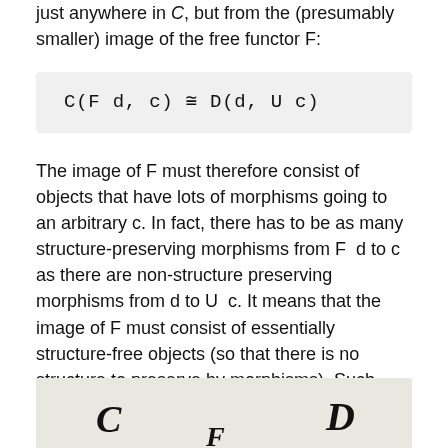just anywhere in C, but from the (presumably smaller) image of the free functor F:
The image of F must therefore consist of objects that have lots of morphisms going to an arbitrary c. In fact, there has to be as many structure-preserving morphisms from F d to c as there are non-structure preserving morphisms from d to U c. It means that the image of F must consist of essentially structure-free objects (so that there is no structure to preserve by morphisms). Such “structure-free” objects are called free objects.
[Figure (illustration): Hand-drawn diagram showing categories C and D with functor F, featuring stylized lettering C, D, F on a light background.]